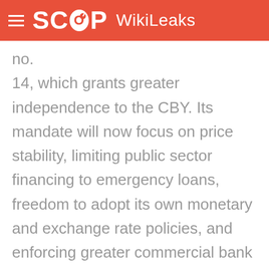SCOOP WikiLeaks
no.
14, which grants greater independence to the CBY. Its mandate will now focus on price stability, limiting public sector financing to emergency loans, freedom to adopt its own monetary and exchange rate policies, and enforcing greater commercial bank accountability. It is authorized to conduct inspections of all banks implement provisioning and capital increase schedules, and enforces penalties and corrective measures. Interbank activities are limited,